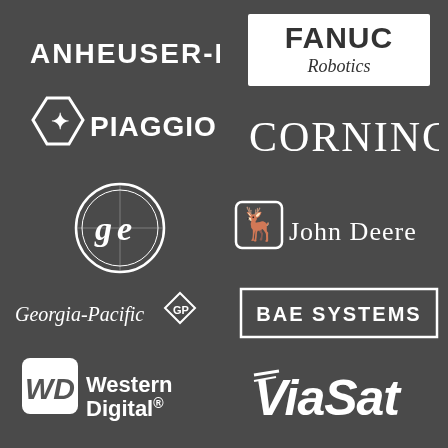[Figure (logo): Anheuser-Busch logo in white text on dark background]
[Figure (logo): FANUC Robotics logo with white border box on dark background]
[Figure (logo): Piaggio logo with hexagonal emblem and PIAGGIO text in white]
[Figure (logo): Corning logo in white serif uppercase letters]
[Figure (logo): GE (General Electric) circular logo in white outline]
[Figure (logo): John Deere logo with deer icon and John Deere text in white]
[Figure (logo): Georgia-Pacific logo with GP emblem in white]
[Figure (logo): BAE Systems logo in white text with white border box]
[Figure (logo): Western Digital WD logo with icon and text in white]
[Figure (logo): ViaSat logo in white italic bold text]